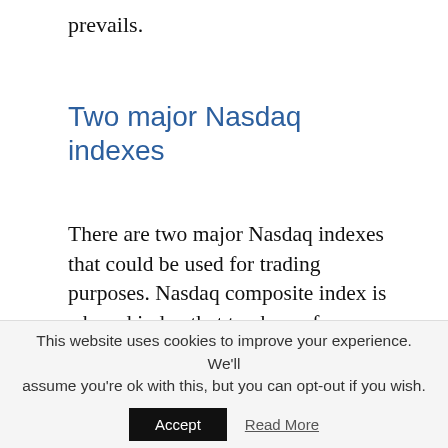prevails.
Two major Nasdaq indexes
There are two major Nasdaq indexes that could be used for trading purposes. Nasdaq composite index is a broad index that tracks performance of more than 3000 stocks listed on the Nasdaq stock exchange. This index covers the whole market stock total exposure. The market ticker for the Nasdaq composite index varies based on
This website uses cookies to improve your experience. We'll assume you're ok with this, but you can opt-out if you wish.